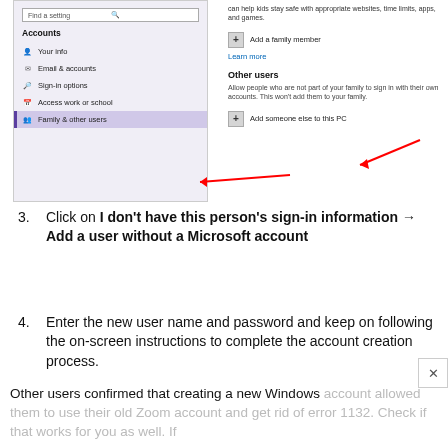[Figure (screenshot): Windows Settings screenshot showing Accounts panel on the left with Family & other users selected, and the right panel showing Add a family member and Add someone else to this PC options, with red arrows pointing to Family & other users and Add someone else to this PC]
3. Click on I don't have this person's sign-in information → Add a user without a Microsoft account
4. Enter the new user name and password and keep on following the on-screen instructions to complete the account creation process.
Other users confirmed that creating a new Windows account allowed them to use their old Zoom account and get rid of error 1132. Check if that works for you as well. If